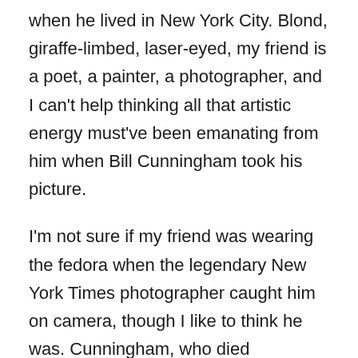when he lived in New York City. Blond, giraffe-limbed, laser-eyed, my friend is a poet, a painter, a photographer, and I can't help thinking all that artistic energy must've been emanating from him when Bill Cunningham took his picture.
I'm not sure if my friend was wearing the fedora when the legendary New York Times photographer caught him on camera, though I like to think he was. Cunningham, who died yesterday at the age of 87, was a master of sighting the stories daily, out-and-about style told. In a short video about his method, Cunningham said, "I let the street speak to me … You've got to stay out there and see what it is."